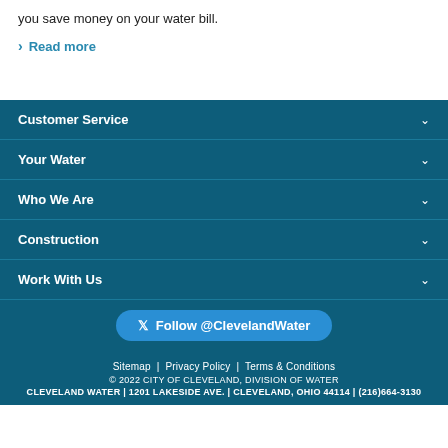you save money on your water bill.
Read more
Customer Service
Your Water
Who We Are
Construction
Work With Us
Follow @ClevelandWater
Sitemap | Privacy Policy | Terms & Conditions © 2022 CITY OF CLEVELAND, DIVISION OF WATER CLEVELAND WATER | 1201 LAKESIDE AVE. | CLEVELAND, OHIO 44114 | (216)664-3130